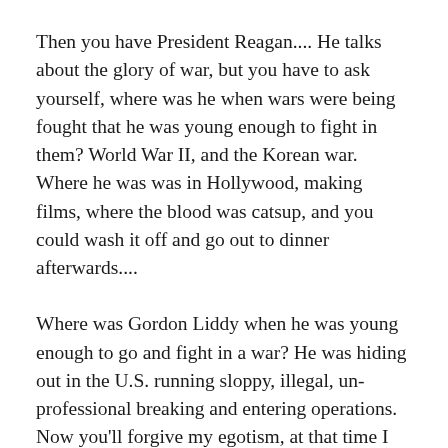Then you have President Reagan.... He talks about the glory of war, but you have to ask yourself, where was he when wars were being fought that he was young enough to fight in them? World War II, and the Korean war. Where he was was in Hollywood, making films, where the blood was catsup, and you could wash it off and go out to dinner afterwards....
Where was Gordon Liddy when he was young enough to go and fight in a war? He was hiding out in the U.S. running sloppy, illegal, un-professional breaking and entering operations. Now you'll forgive my egotism, at that time I was running professional breaking and entering operations....
What about Rambo himself? Sylvester Stallone. Where was Sylvester Stallone during the Vietnam war? He got